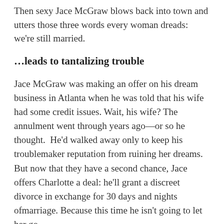Then sexy Jace McGraw blows back into town and utters those three words every woman dreads: we're still married.
…leads to tantalizing trouble
Jace McGraw was making an offer on his dream business in Atlanta when he was told that his wife had some credit issues. Wait, his wife? The annulment went through years ago—or so he thought.  He'd walked away only to keep his troublemaker reputation from ruining her dreams. But now that they have a second chance, Jace offers Charlotte a deal: he'll grant a discreet divorce in exchange for 30 days and nights ofmarriage. Because this time he isn't going to let her go